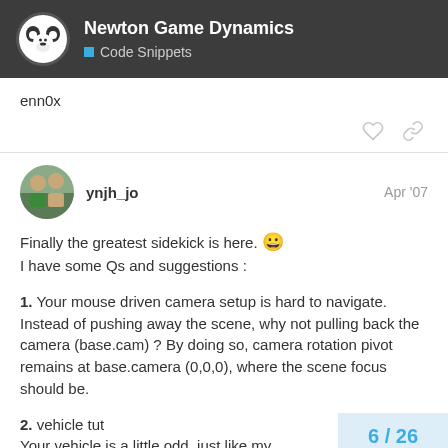Newton Game Dynamics — Code Snippets
enn0x
ynjh_jo   Apr '07
Finally the greatest sidekick is here. 😀
I have some Qs and suggestions :
1. Your mouse driven camera setup is hard to navigate. Instead of pushing away the scene, why not pulling back the camera (base.cam) ? By doing so, camera rotation pivot remains at base.camera (0,0,0), where the scene focus should be.
2. vehicle tut
Your vehicle is a little odd, just like my
6 / 26